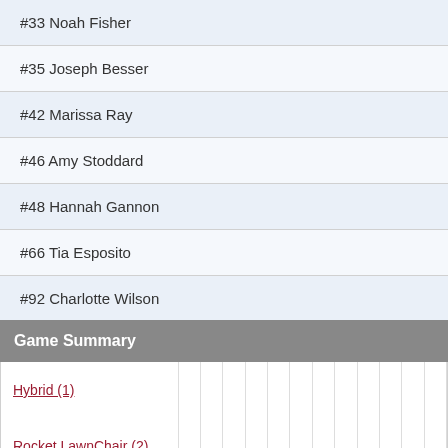| Player | Col1 | Col2 | Col3 | Col4 |
| --- | --- | --- | --- | --- |
| #33 Noah Fisher | 0 | 0 | 0 | 0 |
| #35 Joseph Besser | 0 | 0 | 0 | 0 |
| #42 Marissa Ray | 0 | 0 | 0 | 0 |
| #46 Amy Stoddard | 0 | 0 | 0 | 0 |
| #48 Hannah Gannon | 0 | 0 | 0 | 0 |
| #66 Tia Esposito | 0 | 0 | 0 | 0 |
| #92 Charlotte Wilson | 0 | 0 | 0 | 0 |
Game Summary
| Team | Scores... |
| --- | --- |
| Hybrid (1) |  |  |  |  |  |  |  |  |  |  |  |  |
| Rocket LawnChair (2) |  |  |  |  |  |  |  |  |  |  |  |  |